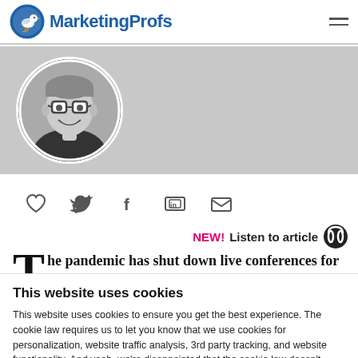MarketingProfs
[Figure (photo): Circular black and white headshot of a smiling man with glasses on a grey banner background]
[Figure (infographic): Social sharing icons row: heart, Twitter bird, Facebook f, LinkedIn in, email envelope]
NEW! Listen to article 🎧
The pandemic has shut down live conferences for
This website uses cookies
This website uses cookies to ensure you get the best experience. The cookie law requires us to let you know that we use cookies for personalization, website traffic analysis, 3rd party tracking, and website functionality. And yeah, we're disappointed that the cookie law doesn't deliver actual cookies, too. Read our cookie policy.